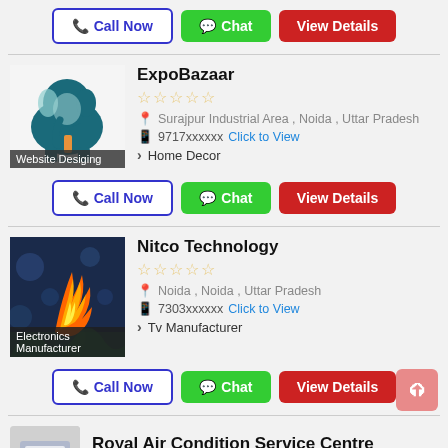[Figure (screenshot): Call Now, Chat, View Details action buttons row at top]
ExpoBazaar
[Figure (logo): ExpoBazaar elephant logo with 'Website Desiging' label]
☆☆☆☆☆
Surajpur Industrial Area , Noida , Uttar Pradesh
9717xxxxxx  Click to View
Home Decor
[Figure (screenshot): Call Now, Chat, View Details action buttons row for ExpoBazaar]
Nitco Technology
[Figure (photo): Nitco Technology product photo - TV with orange flame, labeled Electronics Manufacturer]
☆☆☆☆☆
Noida , Noida , Uttar Pradesh
7303xxxxxx  Click to View
Tv Manufacturer
[Figure (screenshot): Call Now, Chat, View Details action buttons row for Nitco Technology]
Royal Air Condition Service Centre